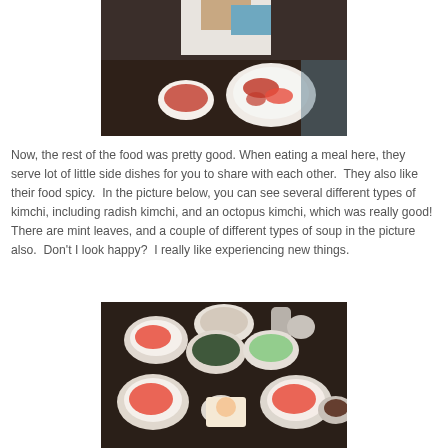[Figure (photo): A person sitting at a dark dining table with Korean food in front of them, including a plate of kimchi and a small bowl with red sauce.]
Now, the rest of the food was pretty good. When eating a meal here, they serve lot of little side dishes for you to share with each other.  They also like their food spicy.  In the picture below, you can see several different types of kimchi, including radish kimchi, and an octopus kimchi, which was really good! There are mint leaves, and a couple of different types of soup in the picture also.  Don't I look happy?  I really like experiencing new things.
[Figure (photo): An overhead view of a Korean restaurant table with multiple small white bowls containing various side dishes including kimchi, seaweed, vegetables, soup, and spicy dishes.]